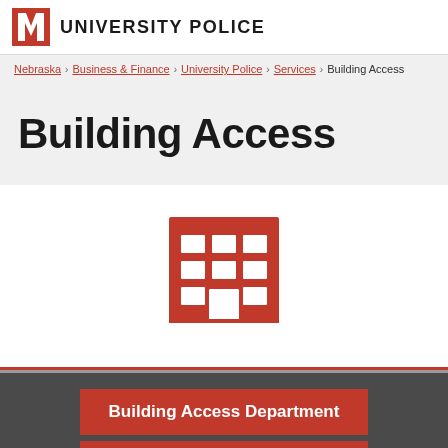UNIVERSITY POLICE
Nebraska > Business & Finance > University Police > Services > Building Access
Building Access
[Figure (illustration): Red building/office icon with grid of windows and a door at the bottom]
Building Access Department
Resources